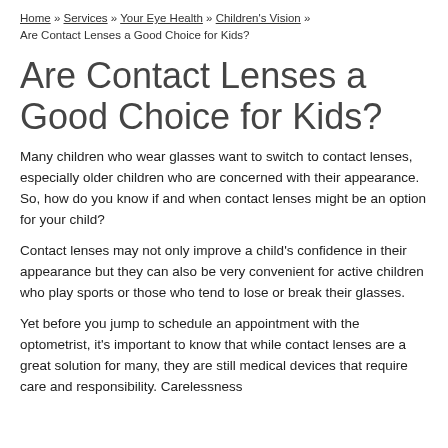Home » Services » Your Eye Health » Children's Vision » Are Contact Lenses a Good Choice for Kids?
Are Contact Lenses a Good Choice for Kids?
Many children who wear glasses want to switch to contact lenses, especially older children who are concerned with their appearance. So, how do you know if and when contact lenses might be an option for your child?
Contact lenses may not only improve a child's confidence in their appearance but they can also be very convenient for active children who play sports or those who tend to lose or break their glasses.
Yet before you jump to schedule an appointment with the optometrist, it's important to know that while contact lenses are a great solution for many, they are still medical devices that require care and responsibility. Carelessness